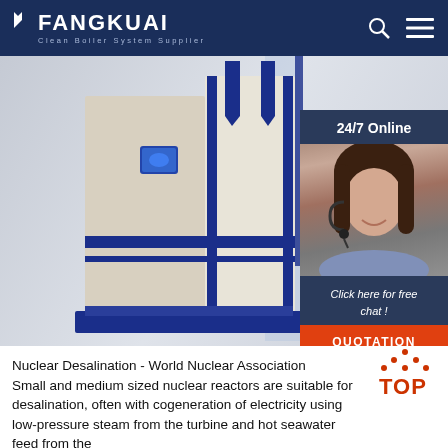FANGKUAI — Clean Boiler System Supplier
[Figure (photo): Industrial boiler unit in white and blue casing, displayed against a light blue-grey background. Right side shows a customer service chat widget with agent photo, '24/7 Online' label, 'Click here for free chat!' text, and orange QUOTATION button.]
Nuclear Desalination - World Nuclear Association Small and medium sized nuclear reactors are suitable for desalination, often with cogeneration of electricity using low-pressure steam from the turbine and hot seawater feed from the